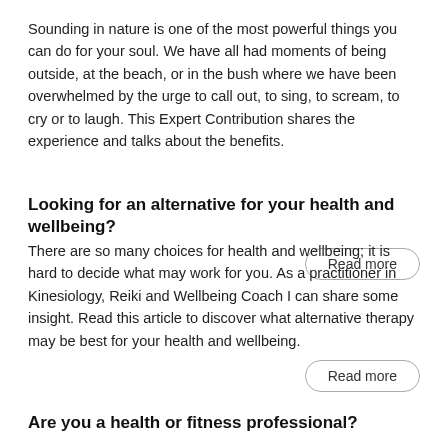Sounding in nature is one of the most powerful things you can do for your soul. We have all had moments of being outside, at the beach, or in the bush where we have been overwhelmed by the urge to call out, to sing, to scream, to cry or to laugh. This Expert Contribution shares the experience and talks about the benefits.
Read more
Looking for an alternative for your health and wellbeing?
There are so many choices for health and wellbeing; it is hard to decide what may work for you. As a practitioner in Kinesiology, Reiki and Wellbeing Coach I can share some insight. Read this article to discover what alternative therapy may be best for your health and wellbeing.
Read more
Are you a health or fitness professional?